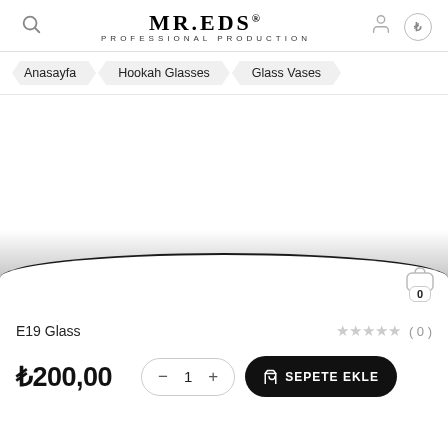MR.EDS® PROFESSIONAL PRODUCTION
Anasayfa > Hookah Glasses > Glass Vases
[Figure (photo): Product image area showing E19 Glass with curved white surface and dark edge, cart icon with badge 0 in bottom right]
E19 Glass
★★★★★ ( 0 )
₺200,00
— 1 +
SEPETE EKLE